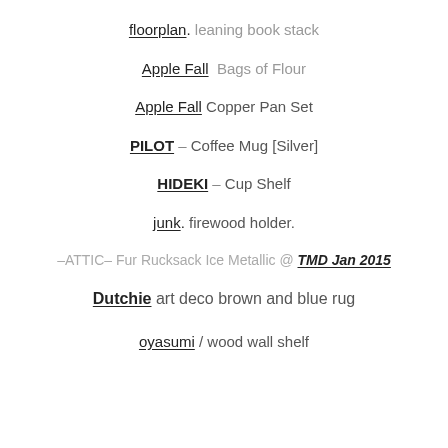floorplan. leaning book stack
Apple Fall  Bags of Flour
Apple Fall Copper Pan Set
PILOT – Coffee Mug [Silver]
HIDEKI – Cup Shelf
junk. firewood holder.
-ATTIC- Fur Rucksack Ice Metallic @ TMD Jan 2015
Dutchie art deco brown and blue rug
oyasumi / wood wall shelf